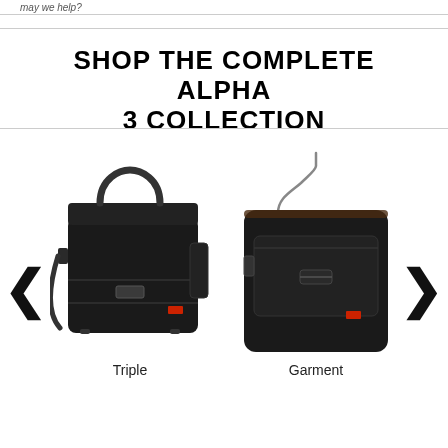may we help?
SHOP THE COMPLETE ALPHA 3 COLLECTION
[Figure (photo): Black Tumi Alpha 3 Triple compartment briefcase with shoulder strap]
Triple
[Figure (photo): Black Tumi Alpha 3 Garment bag with metal hanger hook]
Garment